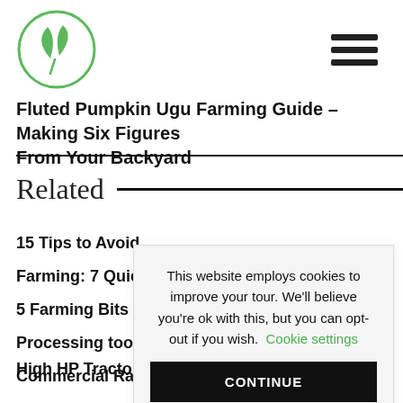[Figure (logo): Green leaf logo inside a circle — Sabiagrik brand logo]
[Figure (other): Hamburger/menu icon with three horizontal bars]
Fluted Pumpkin Ugu Farming Guide – Making Six Figures From Your Backyard
Related
15 Tips to Avoid
Farming: 7 Quick
5 Farming Bits o
Processing too o
Commercial Ra
High HP Tractor Range -Sabiagrik
This website employs cookies to improve your tour. We'll believe you're ok with this, but you can opt-out if you wish. Cookie settings
CONTINUE